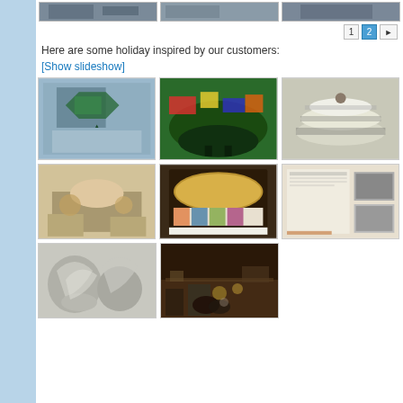[Figure (photo): Three cropped photos at top of page showing partial customer holiday images]
1  2  ►
Here are some holiday inspired by our customers:
[Show slideshow]
[Figure (photo): Gift bags with green card/label]
[Figure (photo): Green Africa-shaped cake with colorful flags]
[Figure (photo): Tiered white cake with film strip decoration]
[Figure (photo): Table setting with flowers and small cakes]
[Figure (photo): Gold topped cake with photo strip around sides]
[Figure (photo): Display board with photos and text]
[Figure (photo): White/grey sculpture of a figure]
[Figure (photo): People sitting in a bar/restaurant]